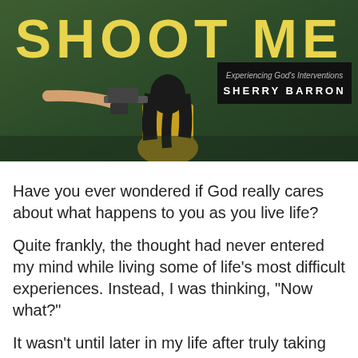[Figure (illustration): Book cover for 'Go Ahead... Shoot Me: Experiencing God's Interventions' by Sherry Barron. Shows a dark green background with a woman in a yellow jacket from behind, with a gun pointed at her. Title text 'SHOOT ME' in large yellow letters. Black box with subtitle 'Experiencing God's Interventions' and author name 'SHERRY BARRON'.]
Have you ever wondered if God really cares about what happens to you as you live life?
Quite frankly, the thought had never entered my mind while living some of life's most difficult experiences. Instead, I was thinking, "Now what?"
It wasn't until later in my life after truly taking the time to reflect was I surprised at all of the interventions God had done along my journey in life. The title of the book, "Go Ahead... Shoot Me" is actually a quote